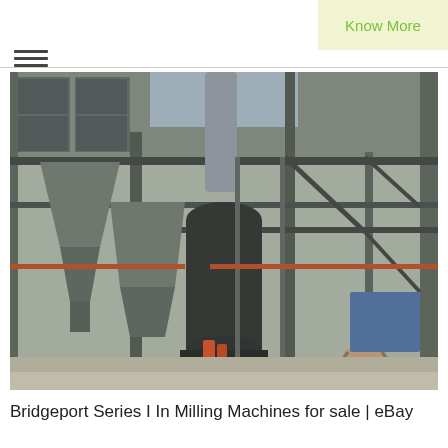Know More
[Figure (photo): Industrial milling facility interior showing large vertical mill machine (dark cylindrical tower), structural steel framework, hoppers, conveyor equipment, and a wheelbarrow on a concrete floor inside a large warehouse/industrial building.]
Bridgeport Series I In Milling Machines for sale | eBay